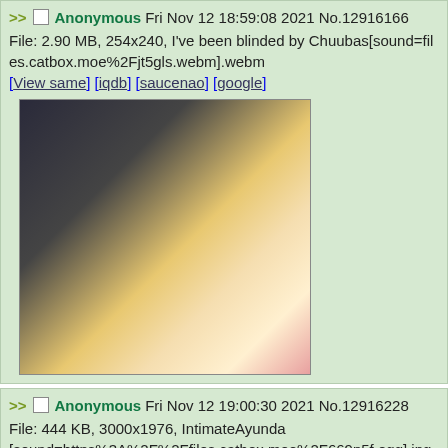>> Anonymous Fri Nov 12 18:59:08 2021 No.12916166
File: 2.90 MB, 254x240, I've been blinded by Chuubas[sound=files.catbox.moe%2Fjt5gls.webm].webm
[View same] [iqdb] [saucenao] [google]
[Figure (illustration): Anime girl with long blonde hair, wearing a white outfit with a red bow, dark background]
>> Anonymous Fri Nov 12 19:00:30 2021 No.12916228
File: 444 KB, 3000x1976, IntimateAyunda [sound=https%3A%2F%2Ffiles.catbox.moe%2F669p5f.ogg].jpg
[View same] [iqdb] [saucenao] [google]
[Figure (illustration): Anime girl with orange hair in a room setting, warm brown tones]
>> Anonymous Fri Nov 12 19:10:58 2021 No.12916618
File: 2.91 MB, 1920x1080, Ame Special Move [sound=files.catbox.moe%2Ftlgnkt.webm].webm [View same] [iqdb] [saucenao] [google]
[Figure (illustration): Partial thumbnail of anime content, brown tones]